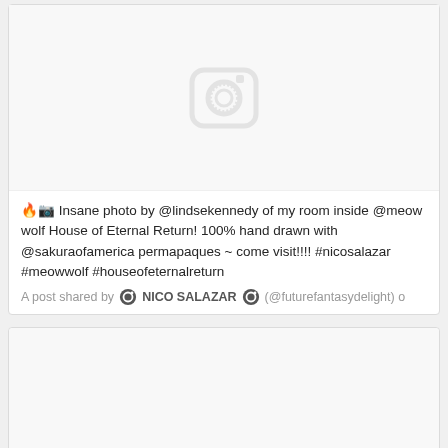[Figure (screenshot): Instagram post card showing a placeholder image area with Instagram camera icon, post text about a photo by @lindsekennedy at @meowwolf House of Eternal Return, and attribution line 'A post shared by NICO SALAZAR (@futurefantasydelight)']
🔥📷 Insane photo by @lindsekennedy of my room inside @meowwolf House of Eternal Return! 100% hand drawn with @sakuraofamerica permapaques ~ come visit!!!! #nicosalazar #meowwolf #houseofeternalreturn
A post shared by NICO SALAZAR (@futurefantasydelight)
[Figure (screenshot): Second Instagram post card with blank image area]